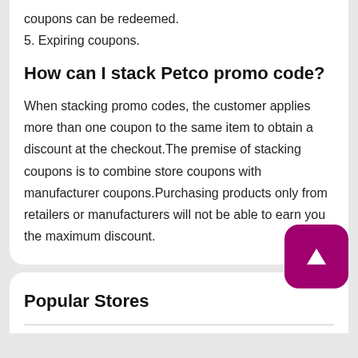coupons can be redeemed.
5. Expiring coupons.
How can I stack Petco promo code?
When stacking promo codes, the customer applies more than one coupon to the same item to obtain a discount at the checkout.The premise of stacking coupons is to combine store coupons with manufacturer coupons.Purchasing products only from retailers or manufacturers will not be able to earn you the maximum discount.
Popular Stores